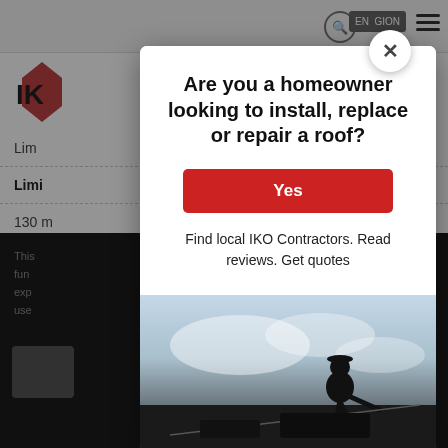[Figure (screenshot): Background webpage with IKO logo, navigation bar with search icon and REGION button, and partial text rows including 'Lim', 'Limi', '130 m', 'Fire' labels and a dark section with partial text and button.]
[Figure (screenshot): Modal popup overlay with close (X) button, heading 'Are you a homeowner looking to install, replace or repair a roof?', a red Yes button, subtext 'Find local IKO Contractors. Read reviews. Get quotes', and a photo of a roofer silhouette against cloudy sky.]
Are you a homeowner looking to install, replace or repair a roof?
Find local IKO Contractors. Read reviews. Get quotes